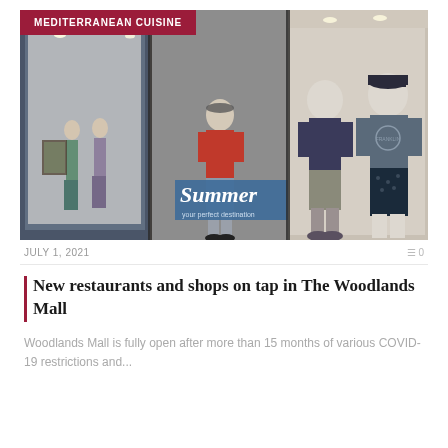[Figure (photo): Photo of a mall storefront with mannequins wearing casual summer clothing. A label in the top-left corner reads MEDITERRANEAN CUISINE on a dark red background.]
MEDITERRANEAN CUISINE
JULY 1, 2021   0
New restaurants and shops on tap in The Woodlands Mall
Woodlands Mall is fully open after more than 15 months of various COVID-19 restrictions and...